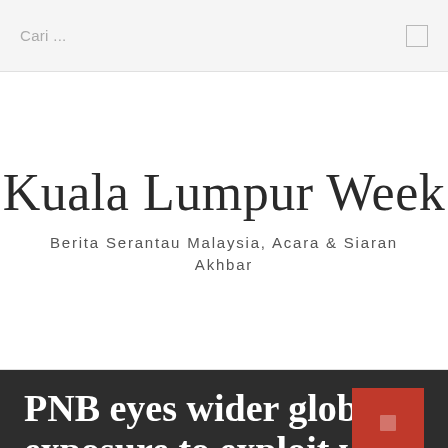Cari ...
Kuala Lumpur Week
Berita Serantau Malaysia, Acara & Siaran Akhbar
[Figure (other): Hamburger menu icon — three horizontal lines stacked]
PNB eyes wider global exposure to exploit weak